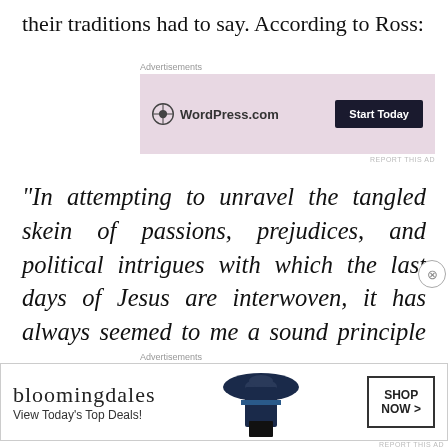their traditions had to say. According to Ross:
[Figure (screenshot): WordPress.com advertisement with pink/mauve background, WordPress logo on left, 'Start Today' dark button on right, label 'Advertisements' above]
“In attempting to unravel the tangled skein of passions, prejudices, and political intrigues with which the last days of Jesus are interwoven, it has always seemed to me a sound principle to go straight to the heart of the mystery by studying closely the nature of the charge brought against
[Figure (screenshot): Bloomingdale's advertisement: white background, Bloomingdale's logo in serif font, 'View Today's Top Deals!' text, woman with large hat, 'SHOP NOW >' button in bordered box, label 'Advertisements' above]